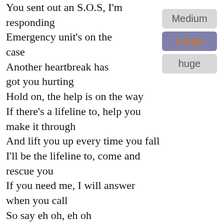You sent out an S.O.S, I'm responding
Emergency unit's on the case
Another heartbreak has got you hurting
Hold on, the help is on the way
If there's a lifeline to, help you make it through
And lift you up every time you fall
I'll be the lifeline to, come and rescue you
If you need me, I will answer when you call
So say eh oh, eh oh
Come on and just let it go
I wanna stand with you against the odds
Let me be the one, that you can trust
Say eh oh, eh oh
Come on and let me know
We don't have to run against the odds